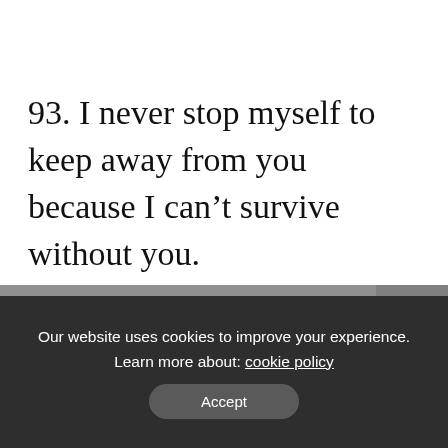93. I never stop myself to keep away from you because I can't survive without you.
94. You are the reason for my happiness.
95. It's very hard to survive a single day
× close
Our website uses cookies to improve your experience. Learn more about: cookie policy
Accept